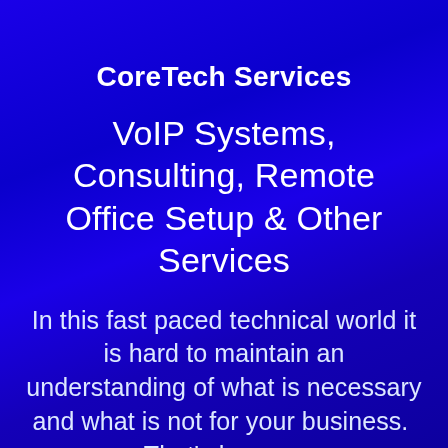CoreTech Services
VoIP Systems, Consulting, Remote Office Setup & Other Services
In this fast paced technical world it is hard to maintain an understanding of what is necessary and what is not for your business.  That's how we